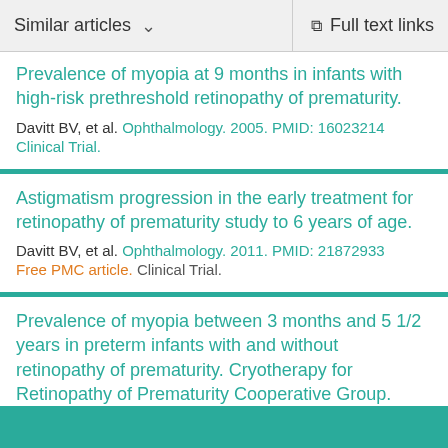Similar articles   ∨   Full text links
Prevalence of myopia at 9 months in infants with high-risk prethreshold retinopathy of prematurity.
Davitt BV, et al. Ophthalmology. 2005. PMID: 16023214 Clinical Trial.
Astigmatism progression in the early treatment for retinopathy of prematurity study to 6 years of age.
Davitt BV, et al. Ophthalmology. 2011. PMID: 21872933 Free PMC article. Clinical Trial.
Prevalence of myopia between 3 months and 5 1/2 years in preterm infants with and without retinopathy of prematurity. Cryotherapy for Retinopathy of Prematurity Cooperative Group.